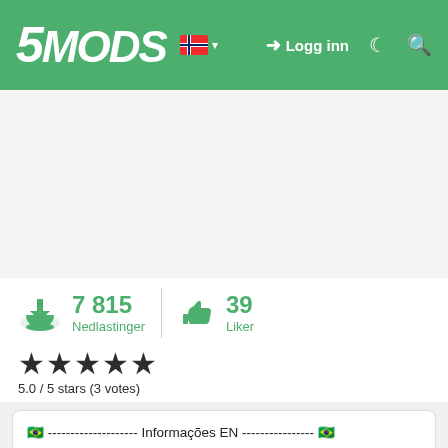5MODS — Logg inn
7 815 Nedlastinger   39 Liker
5.0 / 5 stars (3 votes)
🇧🇷 -------------------- Informações EN ---------------- 🇧🇷
How to Install
manchez.yft manchez.ytd manchez_hi.yft > Grand Theft Auto V\update\x64\dlcpacks\mpbiker\dlc.rpf\x64\levels\gta5\vehicles\mpbikervehicles.rpf\

And> Grand Theft Auto V\update\x64\dlcpacks\patchday13ng\dlc.rpf\x64\levels\gta5\vehicles.rpf\